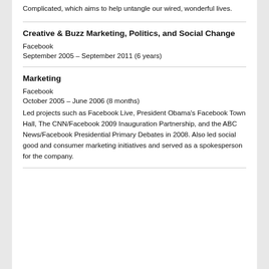Complicated, which aims to help untangle our wired, wonderful lives.
Creative & Buzz Marketing, Politics, and Social Change
Facebook
September 2005 – September 2011 (6 years)
Marketing
Facebook
October 2005 – June 2006 (8 months)
Led projects such as Facebook Live, President Obama's Facebook Town Hall, The CNN/Facebook 2009 Inauguration Partnership, and the ABC News/Facebook Presidential Primary Debates in 2008. Also led social good and consumer marketing initiatives and served as a spokesperson for the company.